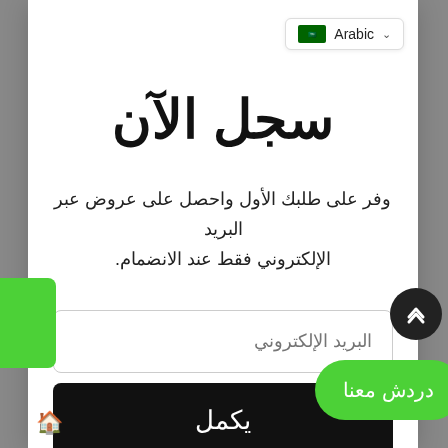[Figure (screenshot): Language selector button showing Saudi Arabia flag and 'Arabic' text with dropdown chevron]
سجل الآن
وفر على طلبك الأول واحصل على عروض عبر البريد الإلكتروني فقط عند الانضمام.
البريد الإلكتروني
يكمل
دردش معنا